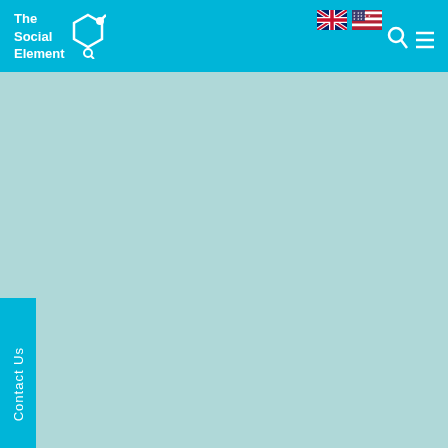The Social Element
[Figure (logo): The Social Element logo with hexagon/molecule icon in white on cyan background, with UK and US flag icons and search/menu icons on the right]
Contact Us